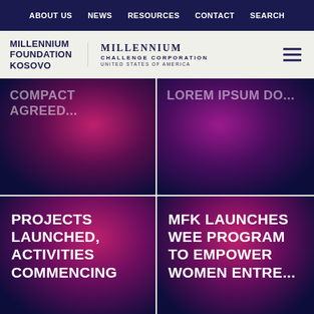ABOUT US | NEWS | RESOURCES | CONTACT | SEARCH
[Figure (logo): Millennium Foundation Kosovo logo and Millennium Challenge Corporation United States of America logo with hamburger menu icon]
[Figure (infographic): Top-left dark purple/magenta gradient card with partially visible white text heading]
[Figure (infographic): Top-right dark purple/magenta gradient card with partially visible white text heading]
PROJECTS LAUNCHED, ACTIVITIES COMMENCING
MFK LAUNCHES WEE PROGRAM TO EMPOWER WOMEN ENTRE...